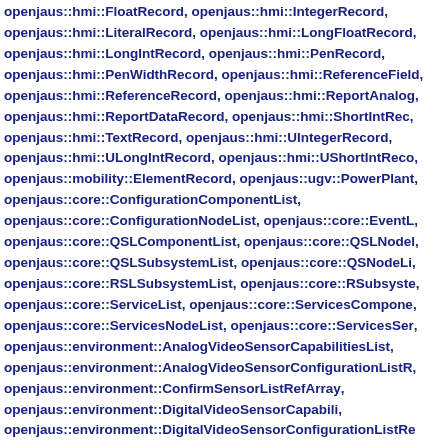openjaus::hmi::FloatRecord, openjaus::hmi::IntegerRecord, openjaus::hmi::LiteralRecord, openjaus::hmi::LongFloatRecord, openjaus::hmi::LongIntRecord, openjaus::hmi::PenRecord, openjaus::hmi::PenWidthRecord, openjaus::hmi::ReferenceField, openjaus::hmi::ReferenceRecord, openjaus::hmi::ReportAnalog, openjaus::hmi::ReportDataRecord, openjaus::hmi::ShortIntRecord, openjaus::hmi::TextRecord, openjaus::hmi::UIntegerRecord, openjaus::hmi::ULongIntRecord, openjaus::hmi::UShortIntRecord, openjaus::mobility::ElementRecord, openjaus::ugv::PowerPlant, openjaus::core::ConfigurationComponentList, openjaus::core::ConfigurationNodeList, openjaus::core::EventL, openjaus::core::QSLComponentList, openjaus::core::QSLNodeL, openjaus::core::QSLSubsystemList, openjaus::core::QSNodeLi, openjaus::core::RSLSubsystemList, openjaus::core::RSubsyste, openjaus::core::ServiceList, openjaus::core::ServicesCompone, openjaus::core::ServicesNodeList, openjaus::core::ServicesSer, openjaus::environment::AnalogVideoSensorCapabilitiesList, openjaus::environment::AnalogVideoSensorConfigurationListR, openjaus::environment::ConfirmSensorListRefArray, openjaus::environment::DigitalVideoSensorCapabili, openjaus::environment::DigitalVideoSensorConfigurationListRe